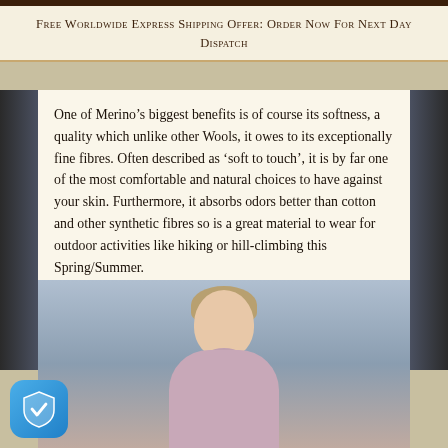Free Worldwide Express Shipping Offer: Order Now For Next Day Dispatch
One of Merino’s biggest benefits is of course its softness, a quality which unlike other Wools, it owes to its exceptionally fine fibres. Often described as ‘soft to touch’, it is by far one of the most comfortable and natural choices to have against your skin. Furthermore, it absorbs odors better than cotton and other synthetic fibres so is a great material to wear for outdoor activities like hiking or hill-climbing this Spring/Summer.
[Figure (photo): A woman with her hair up, wearing a pink/mauve textured wool coat, photographed outdoors against a cloudy sky background.]